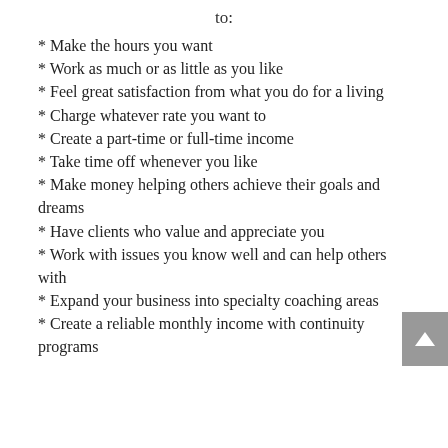to:
* Make the hours you want
* Work as much or as little as you like
* Feel great satisfaction from what you do for a living
* Charge whatever rate you want to
* Create a part-time or full-time income
* Take time off whenever you like
* Make money helping others achieve their goals and dreams
* Have clients who value and appreciate you
* Work with issues you know well and can help others with
* Expand your business into specialty coaching areas
* Create a reliable monthly income with continuity programs